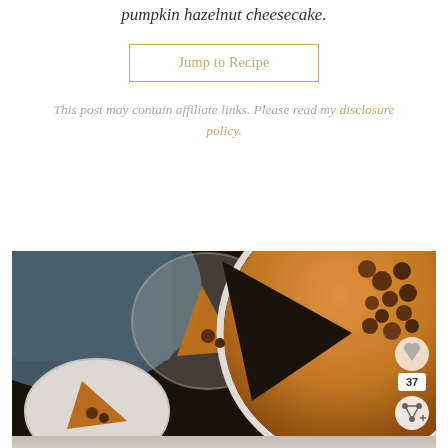pumpkin hazelnut cheesecake.
Jump to Recipe
This post may contain affiliate links. Please read my disclosure policy.
[Figure (photo): Overhead shot of a pumpkin hazelnut cheesecake on a white beaded plate with hazelnuts on top, a slice removed, two smaller plates with individual slices, on a dark background with a blue cloth. A heart icon, share count of 37, and share button overlay on the right side.]